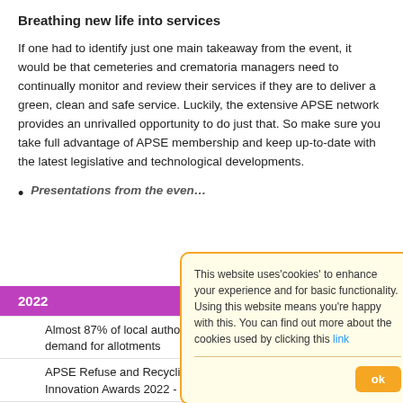Breathing new life into services
If one had to identify just one main takeaway from the event, it would be that cemeteries and crematoria managers need to continually monitor and review their services if they are to deliver a green, clean and safe service. Luckily, the extensive APSE network provides an unrivalled opportunity to do just that. So make sure you take full advantage of APSE membership and keep up-to-date with the latest legislative and technological developments.
Presentations from the even…
| 2022 |
| --- |
| Almost 87% of local authorit… demand for allotments |
| APSE Refuse and Recycling… Innovation Awards 2022 - N… |
| "Nine Shine on the Frontline… Overall Council of the Year P… |
This website uses'cookies' to enhance your experience and for basic functionality. Using this website means you're happy with this. You can find out more about the cookies used by clicking this link